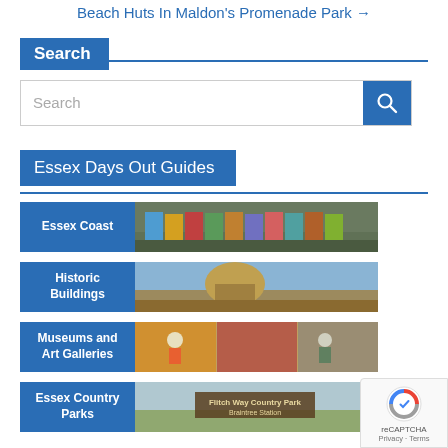Beach Huts In Maldon's Promenade Park →
Search
Search
Essex Days Out Guides
Essex Coast
Historic Buildings
Museums and Art Galleries
Essex Country Parks